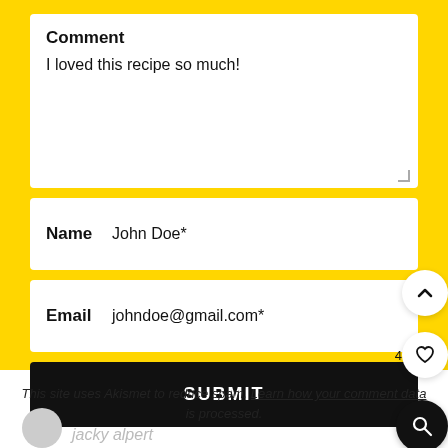Comment
I loved this recipe so much!
Name   John Doe*
Email   johndoe@gmail.com*
SUBMIT
This site uses Akismet to reduce spam. Learn how your comment data is processed.
jacky alpert